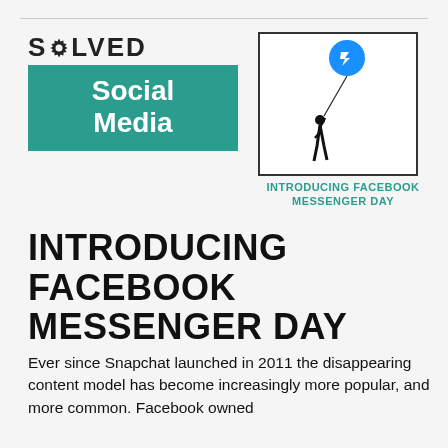[Figure (logo): Solved Social Media logo: word SOLVED in bold black with gear icon replacing O, below it a teal/green rectangle with white bold text Social Media]
[Figure (illustration): Square image with black border showing a silhouette of a girl holding a string attached to a blue Facebook Messenger balloon icon, with text below: INTRODUCING FACEBOOK MESSENGER DAY in teal bold uppercase font]
INTRODUCING FACEBOOK MESSENGER DAY
Ever since Snapchat launched in 2011 the disappearing content model has become increasingly more popular, and more common. Facebook owned